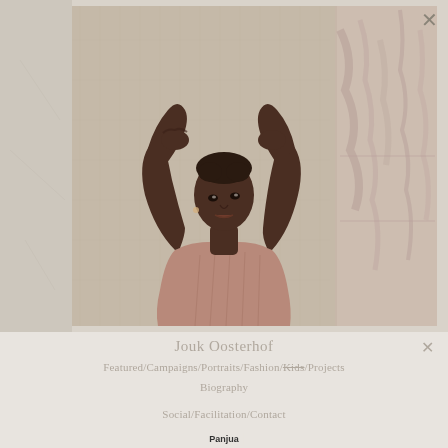[Figure (photo): Portrait photograph of a young Black woman in a dusty rose halter dress, arms raised with hands behind head, posed against a linen-textured wall with a marbled fabric panel visible on the right side]
Jouk Oosterhof
Featured/Campaigns/Portraits/Fashion/Kids/Projects
Biography
Social/Facilitation/Contact
Panjua